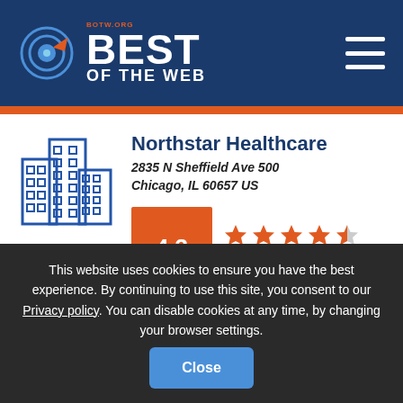[Figure (logo): Best of the Web (BOTW.ORG) logo with circular target icon and hamburger menu]
Northstar Healthcare
2835 N Sheffield Ave 500
Chicago, IL 60657 US
[Figure (infographic): Rating display: 4.3 score in orange box, 4.5 stars (4 full + 1 half), 10 Verified Reviews]
View Listing
This website uses cookies to ensure you have the best experience. By continuing to use this site, you consent to our Privacy policy. You can disable cookies at any time, by changing your browser settings.
Close